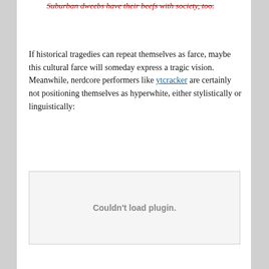Suburban dweebs have their beefs with society, too.
If historical tragedies can repeat themselves as farce, maybe this cultural farce will someday express a tragic vision. Meanwhile, nerdcore performers like ytcracker are certainly not positioning themselves as hyperwhite, either stylistically or linguistically:
[Figure (other): Embedded media plugin placeholder showing 'Couldn't load plugin.' message]